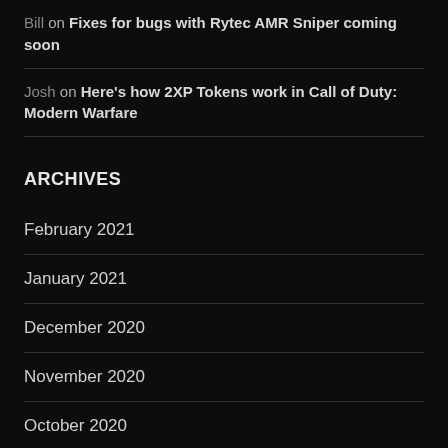Bill on Fixes for bugs with Rytec AMR Sniper coming soon
Josh on Here's how 2XP Tokens work in Call of Duty: Modern Warfare
ARCHIVES
February 2021
January 2021
December 2020
November 2020
October 2020
September 2020
August 2020
July 2020